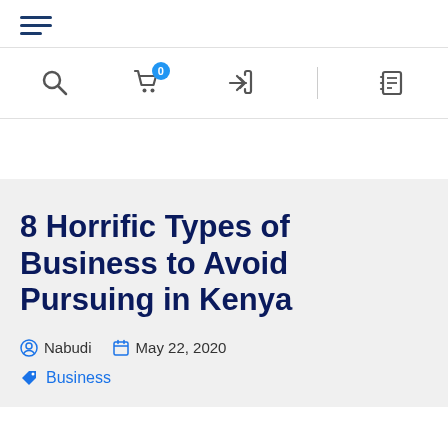[Figure (screenshot): Hamburger menu icon (three horizontal lines in dark blue)]
[Figure (screenshot): Navigation bar with search icon, shopping cart with badge 0, login arrow icon, divider, and contact book icon]
8 Horrific Types of Business to Avoid Pursuing in Kenya
Nabudi   May 22, 2020
Business